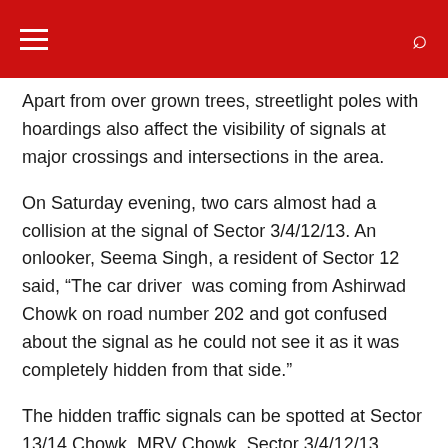Navigation header bar with hamburger menu and search icon
Apart from over grown trees, streetlight poles with hoardings also affect the visibility of signals at major crossings and intersections in the area.
On Saturday evening, two cars almost had a collision at the signal of Sector 3/4/12/13. An onlooker, Seema Singh, a resident of Sector 12 said, “The car driver  was coming from Ashirwad Chowk on road number 202 and got confused about the signal as he could not see it as it was completely hidden from that side.”
The hidden traffic signals can be spotted at Sector 13/14 Chowk, MRV Chowk, Sector 3/4/12/13 Chowk, Sector 22, Sector 4/12 Chowk, KM Chowk etc.
A resident of Sector 3, Rakesh Ranjan said, “The signal at Sector 3/4/12/13 Chowk and 12/4 Chowk near Dwarka